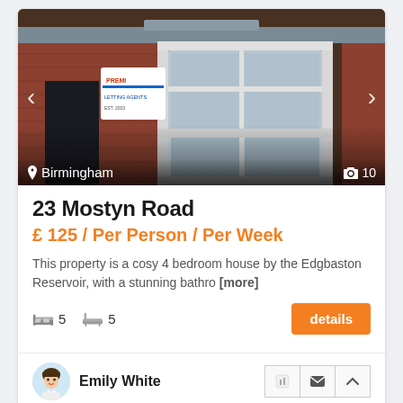[Figure (photo): Exterior of a brick house with white bay window and a Premier letting agency sign, in Birmingham]
23 Mostyn Road
£ 125 / Per Person / Per Week
This property is a cosy 4 bedroom house by the Edgbaston Reservoir, with a stunning bathro [more]
Beds: 5  Baths: 5
Emily White